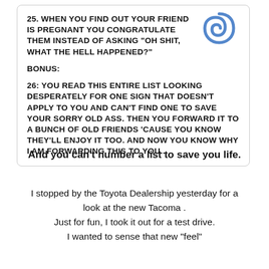[Figure (illustration): White card with rounded border containing humorous numbered list items 25 and 26 in bold comic-style uppercase font, with a blue spiral doodle in the top-right corner of the card.]
And you can't number a list to save you life.
I stopped by the Toyota Dealership yesterday for a look at the new Tacoma .
Just for fun, I took it out for a test drive.
I wanted to sense that new "feel"